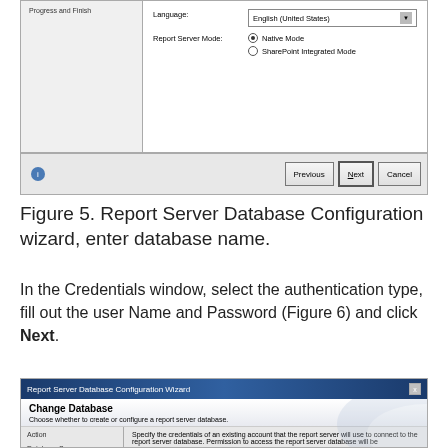[Figure (screenshot): Report Server Database Configuration wizard dialog showing Language set to English (United States), Report Server Mode with Native Mode selected and SharePoint Integrated Mode option, with Previous, Next, and Cancel buttons.]
Figure 5. Report Server Database Configuration wizard, enter database name.
In the Credentials window, select the authentication type, fill out the user Name and Password (Figure 6) and click Next.
[Figure (screenshot): Report Server Database Configuration Wizard dialog showing Change Database section with Action and Database Server labels on the left, and instructions to specify credentials of an existing account on the right.]